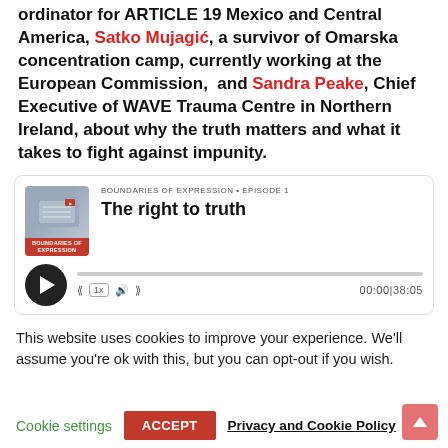ordinator for ARTICLE 19 Mexico and Central America, Satko Mujagić, a survivor of Omarska concentration camp, currently working at the European Commission,  and Sandra Peake, Chief Executive of WAVE Trauma Centre in Northern Ireland, about why the truth matters and what it takes to fight against impunity.
[Figure (other): Podcast player widget for 'Boundaries of Expression - Episode 1: The right to truth'. Shows podcast artwork thumbnail, series name, episode title, play button, progress bar, playback controls, and time display 00:00|38:05.]
This website uses cookies to improve your experience. We'll assume you're ok with this, but you can opt-out if you wish.
Cookie settings   ACCEPT   Privacy and Cookie Policy